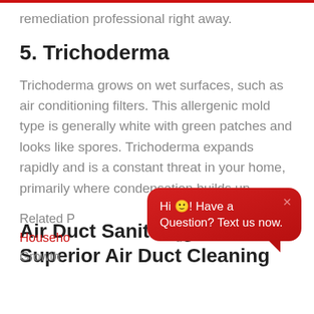remediation professional right away.
5. Trichoderma
Trichoderma grows on wet surfaces, such as air conditioning filters. This allergenic mold type is generally white with green patches and looks like spores. Trichoderma expands rapidly and is a constant threat in your home, primarily where condensation builds up.
Related P... Household ... d Growth
[Figure (other): Red chat bubble popup overlay with text: Hi 🙂! Have a Question? Text us now. With a close X button and speech bubble tail pointing downward-right.]
Air Duct Sanitizing from Superior Air Duct Cleaning